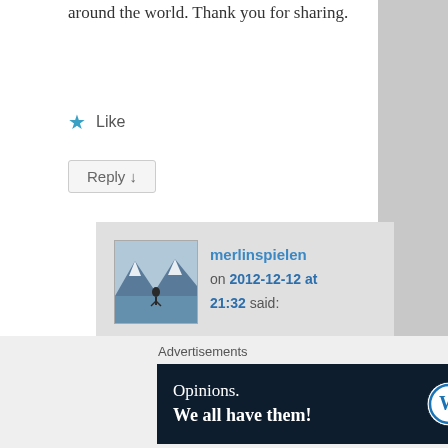around the world. Thank you for sharing.
Like
Reply ↓
merlinspielen on 2012-12-12 at 21:32 said:
Sometimes we just need to follow the random threads that pass out way and let things happen. Honestly I just had so much fun being
Advertisements
[Figure (other): WordPress advertisement banner: 'Opinions. We all have them!' with WordPress logo and another circular logo on dark navy background]